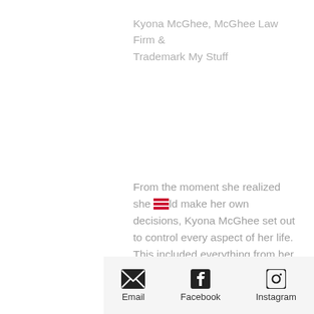Kyona McGhee, McGhee Law Firm & Trademark My Stuff
From the moment she realized she could make her own decisions, Kyona McGhee set out to control every aspect of her life. This included everything from her finances, to opportunities, to even who drove during an evening out. There was no doubt about it, Kyona wanted control.
Email  Facebook  Instagram